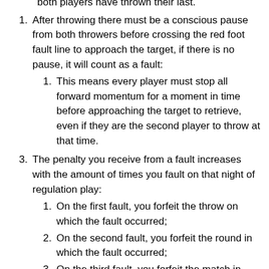After throwing there must be a conscious pause from both throwers before crossing the red foot fault line to approach the target, if there is no pause, it will count as a fault:
This means every player must stop all forward momentum for a moment in time before approaching the target to retrieve, even if they are the second player to throw at that time.
The penalty you receive from a fault increases with the amount of times you fault on that night of regulation play:
On the first fault, you forfeit the throw on which the fault occurred;
On the second fault, you forfeit the round in which the fault occurred;
On the third fault, you forfeit the match in which the fault occurred and in regulation play you are also the recipient for the night...